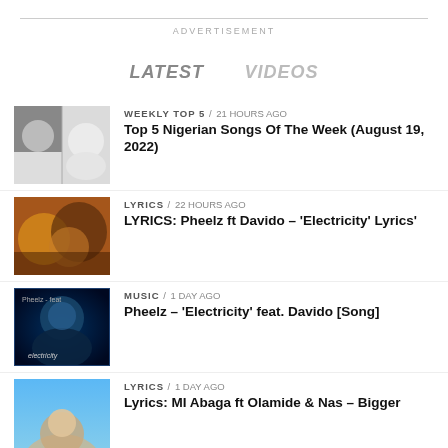ADVERTISEMENT
LATEST   VIDEOS
WEEKLY TOP 5 / 21 hours ago — Top 5 Nigerian Songs Of The Week (August 19, 2022)
LYRICS / 22 hours ago — LYRICS: Pheelz ft Davido – 'Electricity' Lyrics'
MUSIC / 1 day ago — Pheelz – 'Electricity' feat. Davido [Song]
LYRICS / 1 day ago — Lyrics: MI Abaga ft Olamide & Nas – Bigger